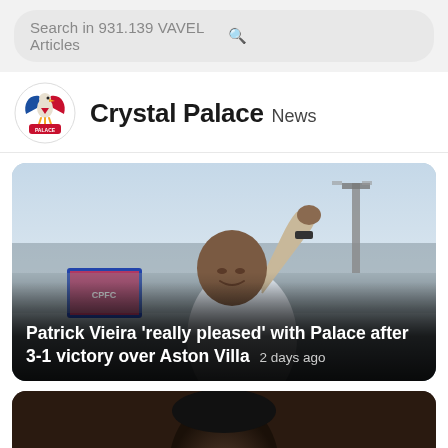Search in 931.139 VAVEL Articles
Crystal Palace News
[Figure (photo): Patrick Vieira celebrating with fist raised on football pitch, stadium in background]
Patrick Vieira 'really pleased' with Palace after 3-1 victory over Aston Villa  2 days ago
[Figure (photo): Partial photo of a person's head/face, dark background — second article card]